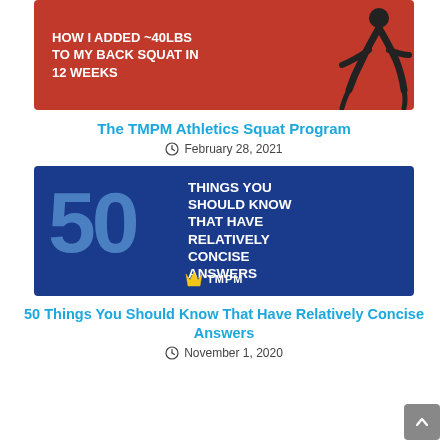[Figure (photo): Red banner thumbnail image with text 'HOW I ADDED ~40LBS TO MY BACK SQUAT IN 12 WEEKS' and a squatting figure silhouette on the right]
The TMPM Athletics Squat Program
February 28, 2021
[Figure (infographic): Dark blue banner with large '50' in lighter blue on the left and white text 'THINGS YOU SHOULD KNOW THAT HAVE RELATIVELY CONCISE ANSWERS' on the right, with TMPM logo at bottom]
50 Things You Should Know That Have Relatively Concise Answers
November 1, 2020